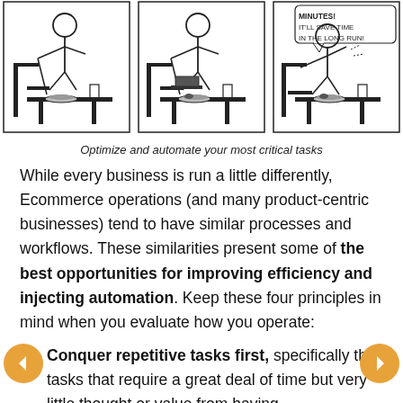[Figure (illustration): Three-panel comic strip (xkcd style) showing a stick figure sitting at a desk with food, in three nearly identical poses. The third panel has a speech bubble saying 'MINUTES! IT'LL SAVE TIME IN THE LONG RUN!']
Optimize and automate your most critical tasks
While every business is run a little differently, Ecommerce operations (and many product-centric businesses) tend to have similar processes and workflows. These similarities present some of the best opportunities for improving efficiency and injecting automation. Keep these four principles in mind when you evaluate how you operate:
Conquer repetitive tasks first, specifically the tasks that require a great deal of time but very little thought or value from having